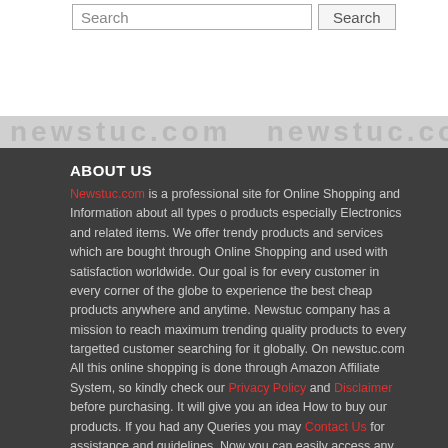Search [input] Search [button]
ABOUT US
Newstuc.com is a professional site for Online Shopping and Information about all types o products especially Electronics and related items. We offer trendy products and services which are bought through Online Shopping and used with satisfaction worldwide. Our goal is for every customer in every corner of the globe to experience the best cheap products anywhere and anytime. Newstuc company has a mission to reach maximum trending quality products to every targetted customer searching for it globally. On newstuc.com All this online shopping is done through Amazon Affiliate System, so kindly check our Privacy Policy and Disclaimer before purchasing. It will give you an idea How to buy our products. If you had any Queries you may Contact Us for assistance and guidelines. Now you can easily access any product according to your